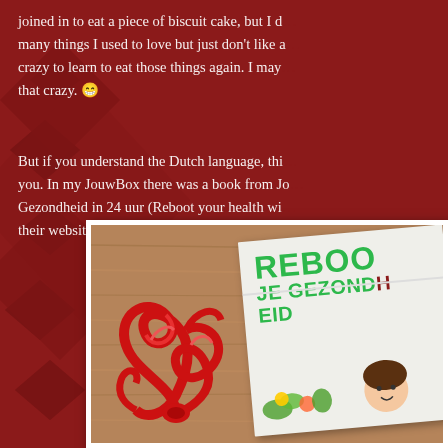joined in to eat a piece of biscuit cake, but I d… many things I used to love but just don't like a… crazy to learn to eat those things again. I may … that crazy. 😁
But if you understand the Dutch language, thi… you. In my JouwBox there was a book from Jo… Gezondheid in 24 uur (Reboot your health wi… their website say about this book about a heal…
[Figure (photo): Photo of a book titled 'Reboot Je Gezondheid' (partially visible as 'REBOO JE GEZONDH') with a red decorative ribbon/bow on a wooden table surface. The book cover shows green title text and an illustration of a person at the bottom.]